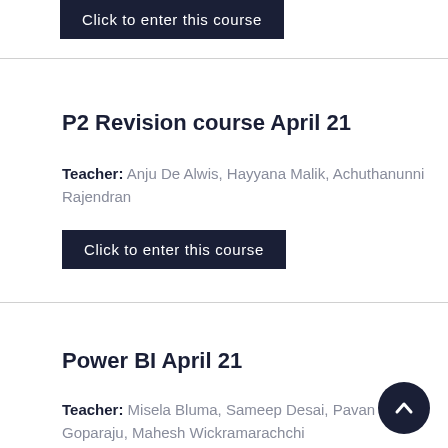Click to enter this course
P2 Revision course April 21
Teacher: Anju De Alwis, Hayyana Malik, Achuthanunni Rajendran
Click to enter this course
Power BI April 21
Teacher: Misela Bluma, Sameep Desai, Pavan Goparaju, Mahesh Wickramarachchi